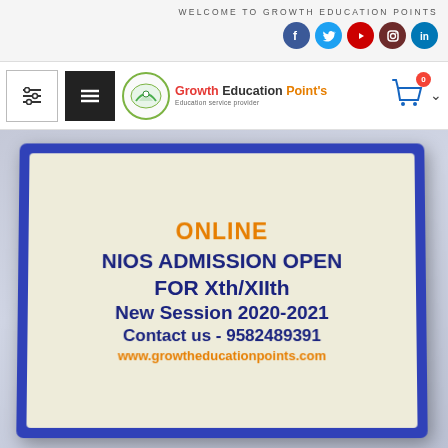WELCOME TO GROWTH EDUCATION POINTS
[Figure (logo): Growth Education Point's logo with circular emblem and colored text]
[Figure (photo): Photo of a 3D sign board with blue frame on light blue background. Text on sign: ONLINE / NIOS ADMISSION OPEN / FOR Xth/XIIth / New Session 2020-2021 / Contact us - 9582489391 / www.growtheducationpoints.com]